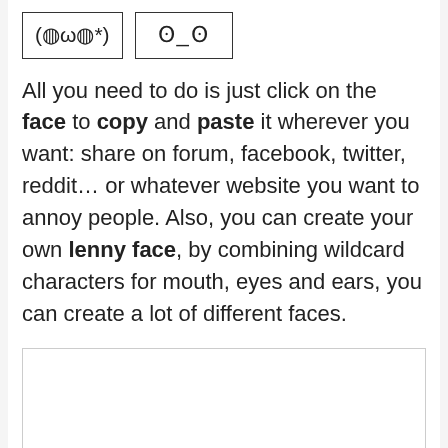[Figure (illustration): Two emoji-style text faces in bordered boxes: '(◍ω◍*)' and 'ʘ_ʘ']
All you need to do is just click on the face to copy and paste it wherever you want: share on forum, facebook, twitter, reddit… or whatever website you want to annoy people. Also, you can create your own lenny face, by combining wildcard characters for mouth, eyes and ears, you can create a lot of different faces.
[Figure (screenshot): Empty white textarea input box]